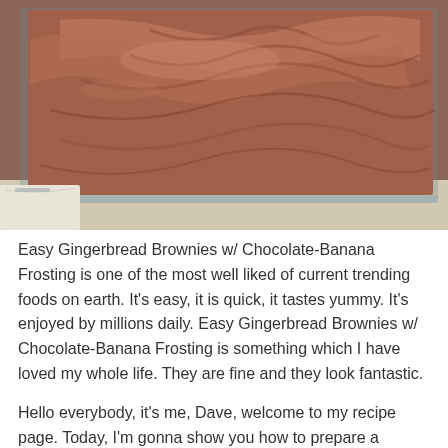[Figure (photo): Close-up photo of a rectangular baking pan filled with chocolate-frosted brownies, viewed from above at a slight angle. The frosting is dark brown/chocolate colored and spread across the top with visible swirl marks.]
Easy Gingerbread Brownies w/ Chocolate-Banana Frosting is one of the most well liked of current trending foods on earth. It's easy, it is quick, it tastes yummy. It's enjoyed by millions daily. Easy Gingerbread Brownies w/ Chocolate-Banana Frosting is something which I have loved my whole life. They are fine and they look fantastic.
Hello everybody, it's me, Dave, welcome to my recipe page. Today, I'm gonna show you how to prepare a